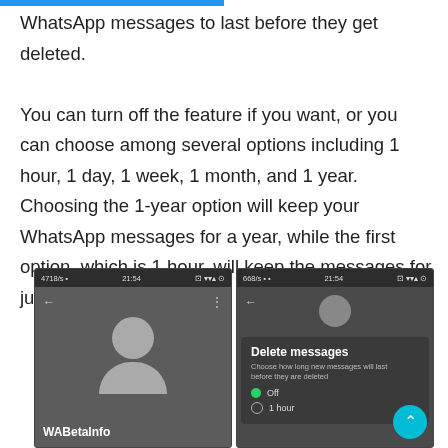WhatsApp messages to last before they get deleted. You can turn off the feature if you want, or you can choose among several options including 1 hour, 1 day, 1 week, 1 month, and 1 year. Choosing the 1-year option will keep your WhatsApp messages for a year, while the first option, which is 1 hour, will keep the messages for just an hour.
[Figure (screenshot): Two side-by-side WhatsApp screenshots on dark-themed Android phones. Left screenshot shows a contact profile screen with a generic avatar and username 'WABetaInfo'. Right screenshot shows a 'Delete messages' dialog with options 'Off' (selected) and '1 hour'.]